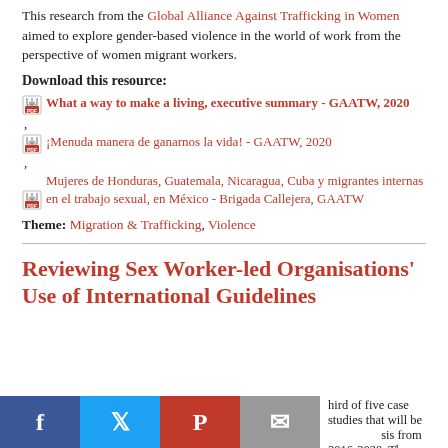This research from the Global Alliance Against Trafficking in Women aimed to explore gender-based violence in the world of work from the perspective of women migrant workers.
Download this resource:
What a way to make a living, executive summary - GAATW, 2020
¡Menuda manera de ganarnos la vida! - GAATW, 2020
Mujeres de Honduras, Guatemala, Nicaragua, Cuba y migrantes internas en el trabajo sexual, en México - Brigada Callejera, GAATW
Theme: Migration & Trafficking, Violence
Reviewing Sex Worker-led Organisations' Use of International Guidelines
hird of five case studies that will be basis from 2016-2020. These case